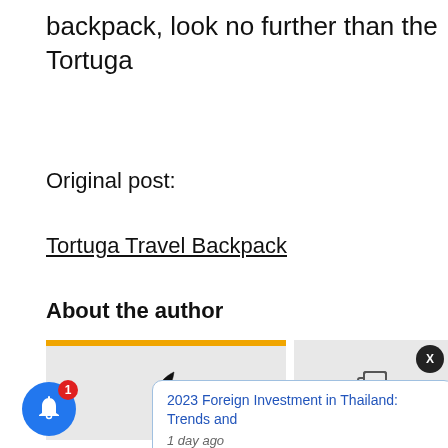backpack, look no further than the Tortuga
Original post:
Tortuga Travel Backpack
About the author
[Figure (screenshot): UI widget with two panels: left panel has an orange top bar and a feather/pen icon, right panel has a copy/paste icon, with a close button (X) on the right edge.]
2023 Foreign Investment in Thailand: Trends and
1 day ago
[Figure (screenshot): Blue circular bell notification button with a red badge showing '1'.]